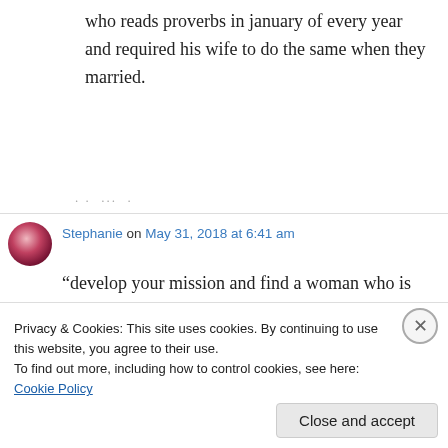who reads proverbs in january of every year and required his wife to do the same when they married.
· · ···
Stephanie on May 31, 2018 at 6:41 am
“develop your mission and find a woman who is
Privacy & Cookies: This site uses cookies. By continuing to use this website, you agree to their use.
To find out more, including how to control cookies, see here: Cookie Policy
Close and accept